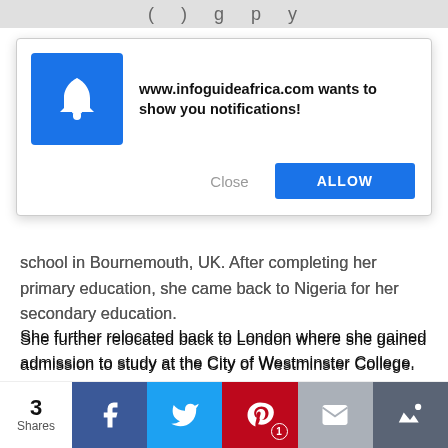( ) g p y
[Figure (screenshot): Browser notification popup from www.infoguideafrica.com asking to show notifications, with a blue bell icon, Close button, and blue ALLOW button]
school in Bournemouth, UK. After completing her primary education, she came back to Nigeria for her secondary education.
She further relocated back to London where she gained admission to study at the City of Westminster College. She also has a degree in Business and Mass communication from London Metropolitan University.
Career
[Figure (screenshot): Social share bar showing 3 Shares, with Facebook, Twitter, Pinterest (1), Email, and bookmark buttons]